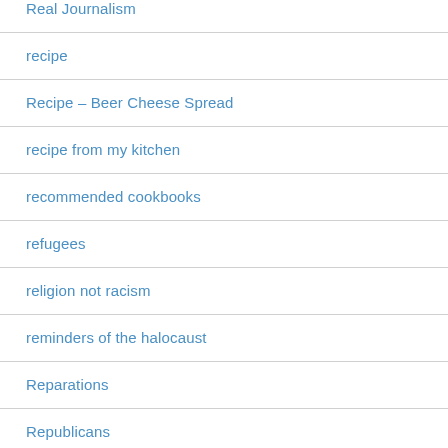Real Journalism
recipe
Recipe – Beer Cheese Spread
recipe from my kitchen
recommended cookbooks
refugees
religion not racism
reminders of the halocaust
Reparations
Republicans